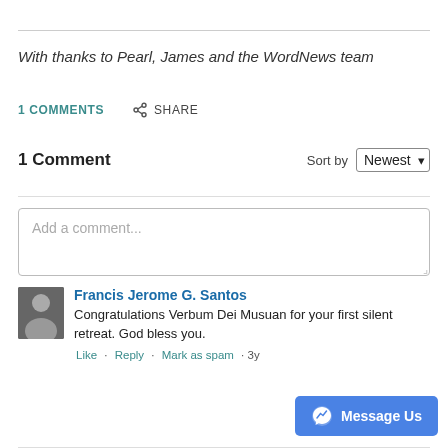With thanks to Pearl, James and the WordNews team
1 COMMENTS   SHARE
1 Comment
Add a comment...
Francis Jerome G. Santos
Congratulations Verbum Dei Musuan for your first silent retreat. God bless you.
Like · Reply · Mark as spam · 3y